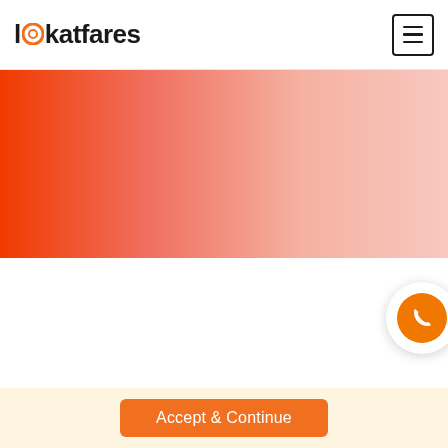lookatfares
[Figure (illustration): Orange to light pink/salmon horizontal gradient banner strip]
[Figure (illustration): Circular phone/call button widget with orange background and white phone icon, positioned at the right edge]
Accept & Continue